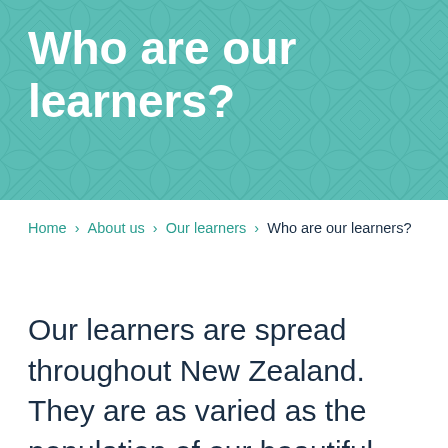Who are our learners?
Home › About us › Our learners › Who are our learners?
Our learners are spread throughout New Zealand. They are as varied as the population of our beautiful country. A common goal they all